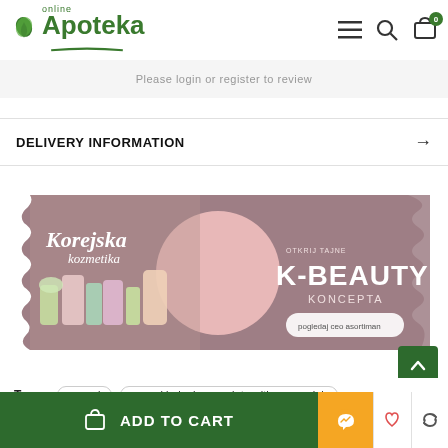online Apoteka
Please login or register to review
DELIVERY INFORMATION
[Figure (illustration): K-Beauty banner ad showing Korean cosmetics products on left, woman's face in center, and text 'Korejska kozmetika' and 'OTKRIJ TAJNE K-BEAUTY KONCEPTA pogledaj ceo asortiman' on mauve/pink background]
Tags: canpol  canpol baby honey plate with ears - pink
ADD TO CART